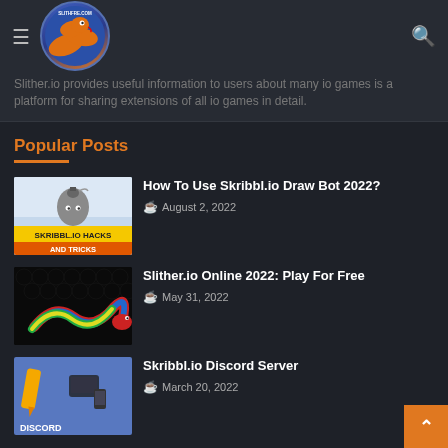slitherfree.com — logo and navigation header
Slither.io provides useful information to users about many io games is a platform for sharing extensions of all io games in detail.
Popular Posts
How To Use Skribbl.io Draw Bot 2022? — August 2, 2022
Slither.io Online 2022: Play For Free — May 31, 2022
Skribbl.io Discord Server — March 20, 2022